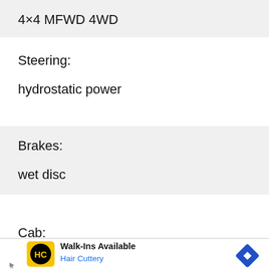4×4 MFWD 4WD
Steering:
hydrostatic power
Brakes:
wet disc
Cab:
[Figure (screenshot): Walk-Ins Available Hair Cuttery advertisement banner with yellow HC logo and blue navigation arrow icon]